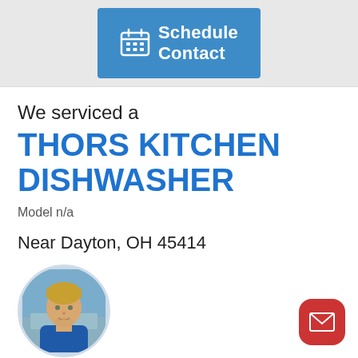[Figure (screenshot): Blue button with calendar icon reading 'Schedule Contact' on a grey background]
We serviced a
THORS KITCHEN DISHWASHER
Model n/a
Near Dayton, OH 45414
[Figure (photo): Circular profile photo of technician Tim, a young man with blond hair wearing a blue shirt, with a blue name badge below reading 'Tim']
[Figure (screenshot): Red rounded square button with white envelope/mail icon in bottom right corner]